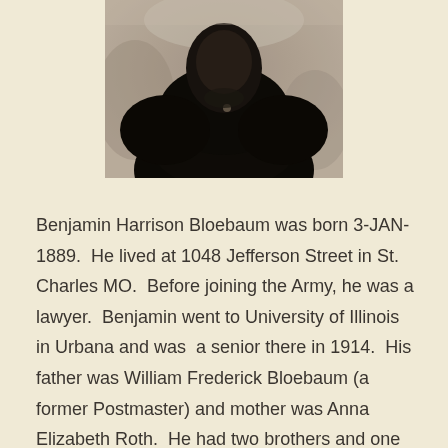[Figure (photo): Black and white portrait photograph of a person, cropped so only the upper torso and head area are visible, dark clothing, against a light background.]
Benjamin Harrison Bloebaum was born 3-JAN-1889.  He lived at 1048 Jefferson Street in St. Charles MO.  Before joining the Army, he was a lawyer.  Benjamin went to University of Illinois in Urbana and was  a senior there in 1914.  His father was William Frederick Bloebaum (a former Postmaster) and mother was Anna Elizabeth Roth.  He had two brothers and one sister.